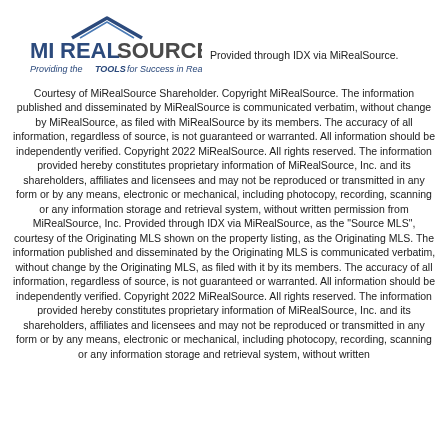[Figure (logo): MiRealSource logo with house icon and tagline 'Providing the TOOLS for Success in Real Estate']
Provided through IDX via MiRealSource. Courtesy of MiRealSource Shareholder. Copyright MiRealSource. The information published and disseminated by MiRealSource is communicated verbatim, without change by MiRealSource, as filed with MiRealSource by its members. The accuracy of all information, regardless of source, is not guaranteed or warranted. All information should be independently verified. Copyright 2022 MiRealSource. All rights reserved. The information provided hereby constitutes proprietary information of MiRealSource, Inc. and its shareholders, affiliates and licensees and may not be reproduced or transmitted in any form or by any means, electronic or mechanical, including photocopy, recording, scanning or any information storage and retrieval system, without written permission from MiRealSource, Inc. Provided through IDX via MiRealSource, as the "Source MLS", courtesy of the Originating MLS shown on the property listing, as the Originating MLS. The information published and disseminated by the Originating MLS is communicated verbatim, without change by the Originating MLS, as filed with it by its members. The accuracy of all information, regardless of source, is not guaranteed or warranted. All information should be independently verified. Copyright 2022 MiRealSource. All rights reserved. The information provided hereby constitutes proprietary information of MiRealSource, Inc. and its shareholders, affiliates and licensees and may not be reproduced or transmitted in any form or by any means, electronic or mechanical, including photocopy, recording, scanning or any information storage and retrieval system, without written